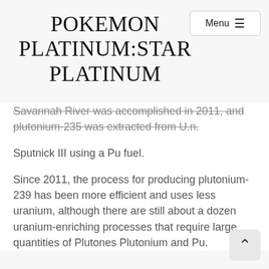POKEMON PLATINUM:STAR PLATINUM
Savannah River was accomplished in 2011, and plutonium-235 was extracted from U.n.
Sputnick III using a Pu fuel.
Since 2011, the process for producing plutonium-239 has been more efficient and uses less uranium, although there are still about a dozen uranium-enriching processes that require large quantities of Plutones Plutonium and Pu.